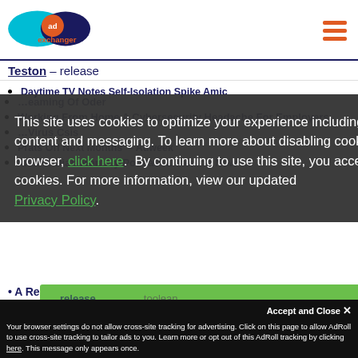[Figure (logo): AdExchanger logo - blue oval overlapping dark navy oval, orange circle with 'ad' text, orange 'exchanger' text below]
Teston – release
Daytime TV Notes Self-Isolation Spike Amic…
…eaming Of O…der
Working From Home A Cybersecurity Headache For Employers…
…Virus C…sis
Prats Off Next Months' – Adweek
Infinite Dial: Monthly Podcast Listening Now At
This site uses cookies to optimize your experience including more relevant content and messaging. To learn more about disabling cookies in your browser, click here. By continuing to use this site, you accept our use of cookies. For more information, view our updated Privacy Policy.
Accept and Close ✕
Your browser settings do not allow cross-site tracking for advertising. Click on this page to allow AdRoll to use cross-site tracking to tailor ads to you. Learn more or opt out of this AdRoll tracking by clicking here. This message only appears once.
A Regularly Updated List Of How Agencies Are…